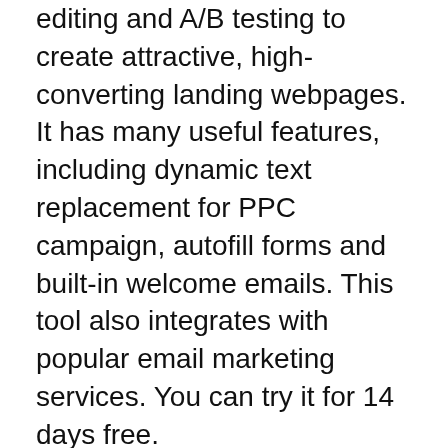editing and A/B testing to create attractive, high-converting landing webpages. It has many useful features, including dynamic text replacement for PPC campaign, autofill forms and built-in welcome emails. This tool also integrates with popular email marketing services. You can try it for 14 days free.
Adoric, another lead generation tool, allows you to make popup ads on your website. These popups will be sent to an ESP to generate leads automatically. You have the option of gamified elements or lightbox popups. To create beautiful popups, you can use many free stock photos. Adoric makes it easy to sell your customers recommended products and/or services.